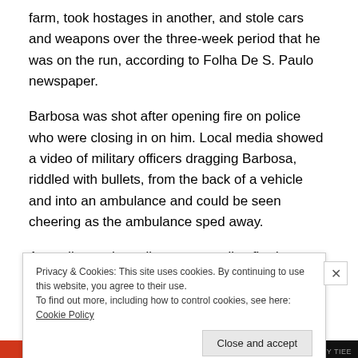farm, took hostages in another, and stole cars and weapons over the three-week period that he was on the run, according to Folha De S. Paulo newspaper.
Barbosa was shot after opening fire on police who were closing in on him. Local media showed a video of military officers dragging Barbosa, riddled with bullets, from the back of a vehicle and into an ambulance and could be seen cheering as the ambulance sped away.
According to the police report, police fired approximately
Privacy & Cookies: This site uses cookies. By continuing to use this website, you agree to their use.
To find out more, including how to control cookies, see here: Cookie Policy